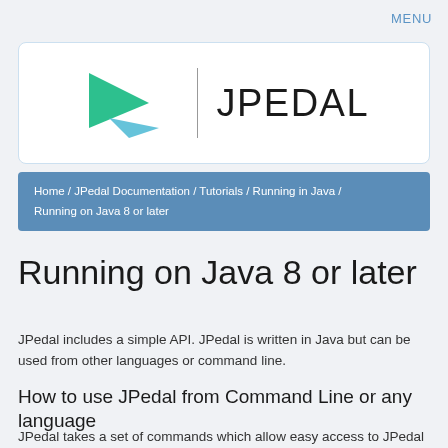MENU
[Figure (logo): JPedal logo with green arrow/play icon and vertical divider followed by JPEDAL text in thin font]
Home / JPedal Documentation / Tutorials / Running in Java / Running on Java 8 or later
Running on Java 8 or later
JPedal includes a simple API. JPedal is written in Java but can be used from other languages or command line.
How to use JPedal from Command Line or any language
JPedal takes a set of commands which allow easy access to JPedal features. This list will appear if no commands are run or if